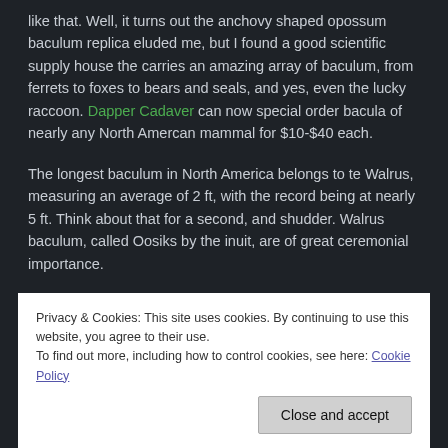like that. Well, it turns out the anchovy shaped opossum baculum replica eluded me, but I found a good scientific supply house the carries an amazing array of baculum, from ferrets to foxes to bears and seals, and yes, even the lucky raccoon. Dapper Cadaver can now special order bacula of nearly any North Amercan mammal for $10-$40 each.
The longest baculum in North America belongs to te Walrus, measuring an average of 2 ft, with the record being at nearly 5 ft. Think about that for a second, and shudder. Walrus baculum, called Oosiks by the inuit, are of great ceremonial importance.
All the great apes except humans have a baculum. The zoologist Richard Dawkins speculated in 2006, that the loss of the bone in humans, is probably a result of sexual selection by females looking for signs of good health in prospective mates. The
Privacy & Cookies: This site uses cookies. By continuing to use this website, you agree to their use.
To find out more, including how to control cookies, see here: Cookie Policy